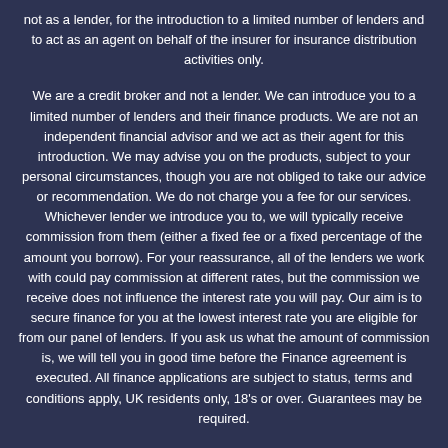not as a lender, for the introduction to a limited number of lenders and to act as an agent on behalf of the insurer for insurance distribution activities only.
We are a credit broker and not a lender. We can introduce you to a limited number of lenders and their finance products. We are not an independent financial advisor and we act as their agent for this introduction. We may advise you on the products, subject to your personal circumstances, though you are not obliged to take our advice or recommendation. We do not charge you a fee for our services. Whichever lender we introduce you to, we will typically receive commission from them (either a fixed fee or a fixed percentage of the amount you borrow). For your reassurance, all of the lenders we work with could pay commission at different rates, but the commission we receive does not influence the interest rate you will pay. Our aim is to secure finance for you at the lowest interest rate you are eligible for from our panel of lenders. If you ask us what the amount of commission is, we will tell you in good time before the Finance agreement is executed. All finance applications are subject to status, terms and conditions apply, UK residents only, 18's or over. Guarantees may be required.